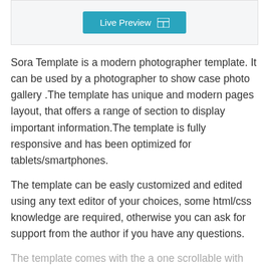[Figure (screenshot): A teal/blue 'Live Preview' button with a grid/layout icon on the right, centered inside a light gray bordered box at the top of the page.]
Sora Template is a modern photographer template. It can be used by a photographer to show case photo gallery .The template has unique and modern pages layout, that offers a range of section to display important information.The template is fully responsive and has been optimized for tablets/smartphones.
The template can be easly customized and edited using any text editor of your choices, some html/css knowledge are required, otherwise you can ask for support from the author if you have any questions.
The template comes with the a one scrollable with various block sections to feat every needs, about, pricing, testimonials, clients,... and also its has a single album page